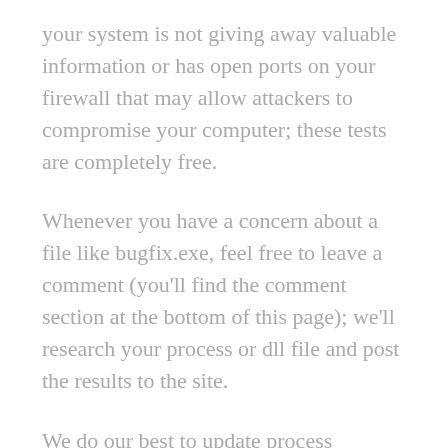your system is not giving away valuable information or has open ports on your firewall that may allow attackers to compromise your computer; these tests are completely free.
Whenever you have a concern about a file like bugfix.exe, feel free to leave a comment (you'll find the comment section at the bottom of this page); we'll research your process or dll file and post the results to the site.
We do our best to update process